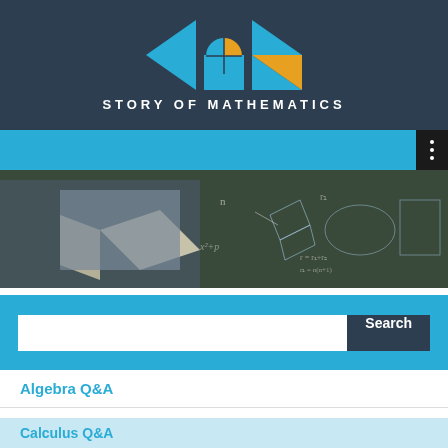[Figure (logo): Story of Mathematics logo with geometric shapes in blue, teal, and orange on dark background, with text 'STORY OF MATHEMATICS']
[Figure (photo): Banner image showing a person reading a math book with chalkboard full of mathematical formulas in the background]
Search
Algebra Q&A
Arithmetic Q&A
Calculus Q&A